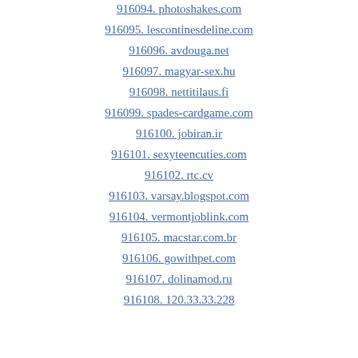916094. photoshakes.com
916095. lescontinesdeline.com
916096. avdouga.net
916097. magyar-sex.hu
916098. nettitilaus.fi
916099. spades-cardgame.com
916100. jobiran.ir
916101. sexyteencuties.com
916102. rtc.cv
916103. varsay.blogspot.com
916104. vermontjoblink.com
916105. macstar.com.br
916106. gowithpet.com
916107. dolinamod.ru
916108. 120.33.33.228